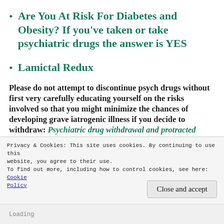Are You At Risk For Diabetes and Obesity? If you've taken or take psychiatric drugs the answer is YES
Lamictal Redux
Please do not attempt to discontinue psych drugs without first very carefully educating yourself on the risks involved so that you might minimize the chances of developing grave iatrogenic illness if you decide to withdraw: Psychiatric drug withdrawal and protracted withdrawal
Privacy & Cookies: This site uses cookies. By continuing to use this website, you agree to their use.
To find out more, including how to control cookies, see here: Cookie Policy
Close and accept
Loading